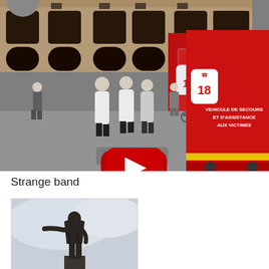[Figure (photo): YouTube video thumbnail showing a French city square with people in white costumes/band uniforms walking past a red French fire/rescue vehicle (VSAV - Vehicule de Secours et d'Assistance aux Victimes, number 18) parked in front of a stone building. A red YouTube play button is overlaid in the center.]
Strange band
[Figure (photo): A bronze or dark-colored statue of a standing figure seen from below against a light/overcast sky, partially cropped.]